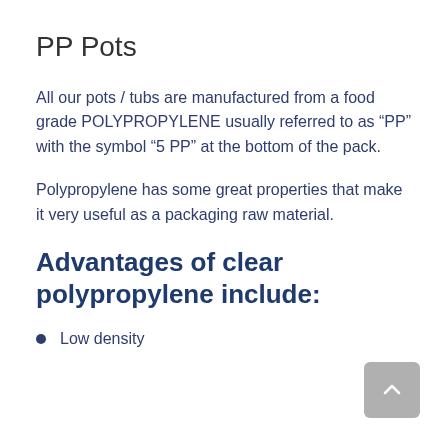PP Pots
All our pots / tubs are manufactured from a food grade POLYPROPYLENE usually referred to as “PP” with the symbol “5 PP” at the bottom of the pack.
Polypropylene has some great properties that make it very useful as a packaging raw material.
Advantages of clear polypropylene include:
Low density